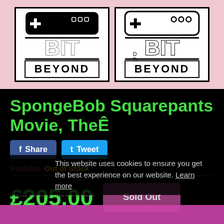[Figure (logo): Two 'Bit Beyond' gaming logos side by side — one filled black, one outline style — on a pink/white background]
SpongeBob Squarepants Movie, TheÊ
[Figure (other): Facebook Share button and Twitter Tweet button]
Available: Out of Stock
£205.00
This website uses cookies to ensure you get the best experience on our website. Learn more